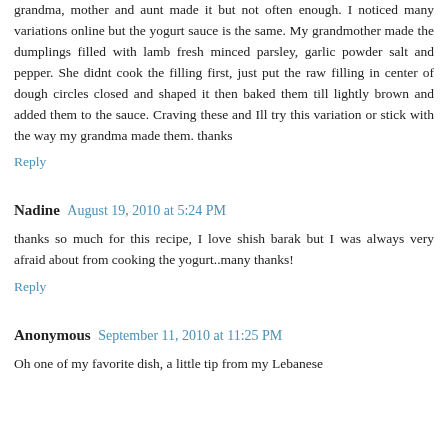grandma, mother and aunt made it but not often enough. I noticed many variations online but the yogurt sauce is the same. My grandmother made the dumplings filled with lamb fresh minced parsley, garlic powder salt and pepper. She didnt cook the filling first, just put the raw filling in center of dough circles closed and shaped it then baked them till lightly brown and added them to the sauce. Craving these and Ill try this variation or stick with the way my grandma made them. thanks
Reply
Nadine   August 19, 2010 at 5:24 PM
thanks so much for this recipe, I love shish barak but I was always very afraid about from cooking the yogurt..many thanks!
Reply
Anonymous   September 11, 2010 at 11:25 PM
Oh one of my favorite dish, a little tip from my Lebanese